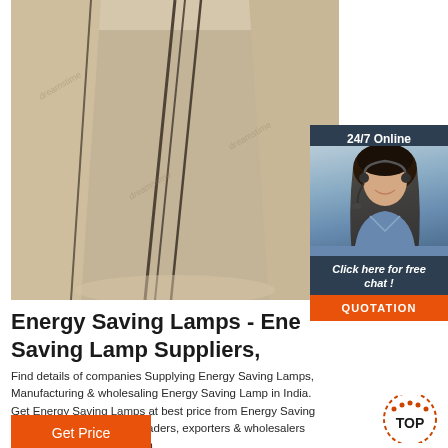[Figure (photo): Interior of a tent or temporary structure with beige/tan fabric walls and dark zipper lines, empty room with smooth floor]
[Figure (infographic): 24/7 Online chat widget with woman wearing headset, 'Click here for free chat!' text, and QUOTATION orange button]
Energy Saving Lamps - Energy Saving Lamp Suppliers,
Find details of companies Supplying Energy Saving Lamps, Manufacturing & wholesaling Energy Saving Lamp in India. Get Energy Saving Lamps at best price from Energy Saving Lamps Retailers, sellers, traders, exporters & wholesalers listed at ExportersIndia.com
[Figure (other): Get Price orange button]
[Figure (other): TOP circular navigation button with dashed orange border]